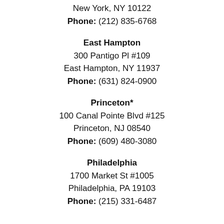New York, NY 10122
Phone: (212) 835-6768
East Hampton
300 Pantigo Pl #109
East Hampton, NY 11937
Phone: (631) 824-0900
Princeton*
100 Canal Pointe Blvd #125
Princeton, NJ 08540
Phone: (609) 480-3080
Philadelphia
1700 Market St #1005
Philadelphia, PA 19103
Phone: (215) 331-6487